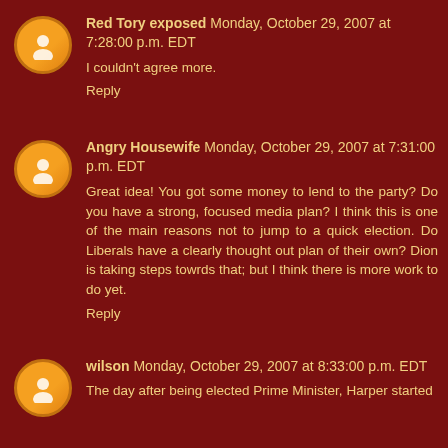Red Tory exposed  Monday, October 29, 2007 at 7:28:00 p.m. EDT
I couldn't agree more.
Reply
Angry Housewife  Monday, October 29, 2007 at 7:31:00 p.m. EDT
Great idea! You got some money to lend to the party? Do you have a strong, focused media plan? I think this is one of the main reasons not to jump to a quick election. Do Liberals have a clearly thought out plan of their own? Dion is taking steps towrds that; but I think there is more work to do yet.
Reply
wilson  Monday, October 29, 2007 at 8:33:00 p.m. EDT
The day after being elected Prime Minister, Harper started